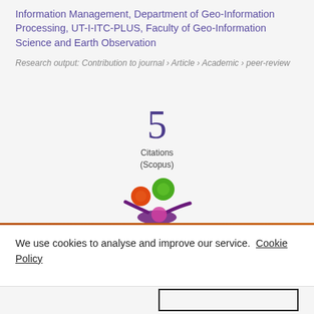Information Management, Department of Geo-Information Processing, UT-I-ITC-PLUS, Faculty of Geo-Information Science and Earth Observation
Research output: Contribution to journal › Article › Academic › peer-review
5 Citations (Scopus)
[Figure (logo): Colored circles logo (orange, green, pink) forming a decorative mark, partially visible]
We use cookies to analyse and improve our service. Cookie Policy